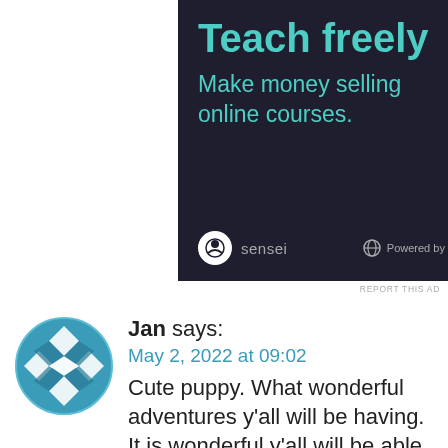[Figure (screenshot): Advertisement banner with dark background. Title 'Teach freely' in teal, subtitle 'Make money selling online courses.' in teal. Sensei logo and 'Powered by WordPress.com' in footer.]
REPORT THIS AD
Jan says: May 2, 2022 at 09:02 Cute puppy. What wonderful adventures y'all will be having. It is wonderful y'all will be able to see your grandchildren